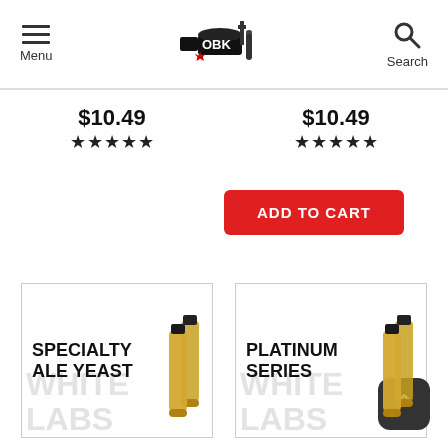Menu | OBK Logo | Search
$10.49 ★★★★★ (left column)
$10.49 ★★★★★ (right column)
ADD TO CART
[Figure (photo): Product card: SPECIALTY ALE YEAST with two amber vials, watermark text in background]
[Figure (photo): Product card: PLATINUM SERIES with two amber vials, watermark text in background]